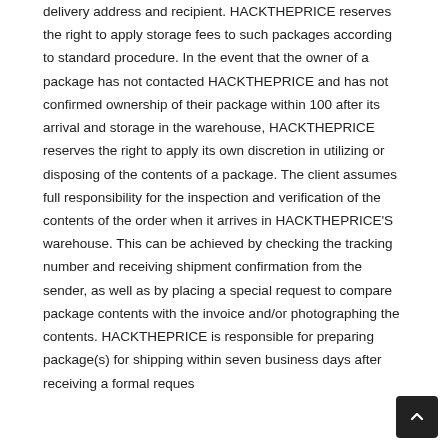delivery address and recipient. HACKTHEPRICE reserves the right to apply storage fees to such packages according to standard procedure. In the event that the owner of a package has not contacted HACKTHEPRICE and has not confirmed ownership of their package within 100 after its arrival and storage in the warehouse, HACKTHEPRICE reserves the right to apply its own discretion in utilizing or disposing of the contents of a package. The client assumes full responsibility for the inspection and verification of the contents of the order when it arrives in HACKTHEPRICE'S warehouse. This can be achieved by checking the tracking number and receiving shipment confirmation from the sender, as well as by placing a special request to compare package contents with the invoice and/or photographing the contents. HACKTHEPRICE is responsible for preparing package(s) for shipping within seven business days after receiving a formal request